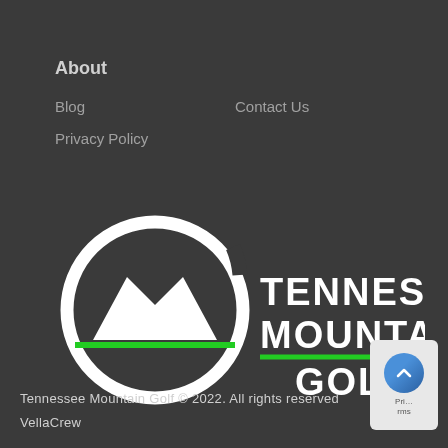About
Blog
Contact Us
Privacy Policy
[Figure (logo): Tennessee Mountain Golf logo — circular emblem with mountain/M shape and green horizontal line, with text TENNESSEE MOUNTAIN GOLF to the right]
Tennessee Mountain Golf © 2022. All rights reserved VellaCrew